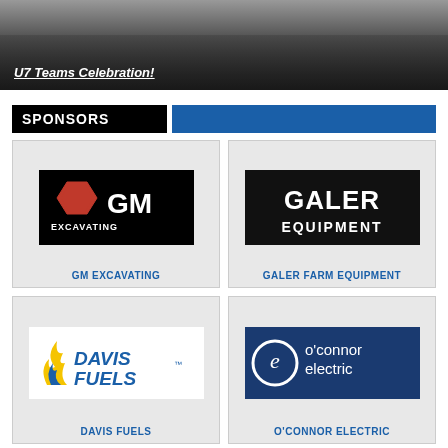[Figure (photo): Photo of U7 Teams Celebration event, people on a gymnasium floor]
U7 Teams Celebration!
SPONSORS
[Figure (logo): GM Excavating logo - white GM text with excavating below on black background with red hexagon icon]
GM EXCAVATING
[Figure (logo): Galer Equipment logo - white bold text on black background]
GALER FARM EQUIPMENT
[Figure (logo): Davis Fuels logo - blue and yellow flame with blue italic text]
DAVIS FUELS
[Figure (logo): O'Connor Electric logo - white text on dark blue background with circle e icon]
O'CONNOR ELECTRIC